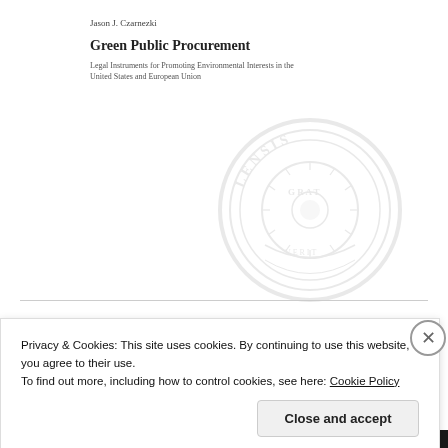Jason J. Czarnezki
Green Public Procurement
Legal Instruments for Promoting Environmental Interests in the United States and European Union
[Figure (illustration): Faint university seal/emblem watermark in the background of the book cover]
Everyday Environmentalism
Privacy & Cookies: This site uses cookies. By continuing to use this website, you agree to their use.
To find out more, including how to control cookies, see here: Cookie Policy
Close and accept